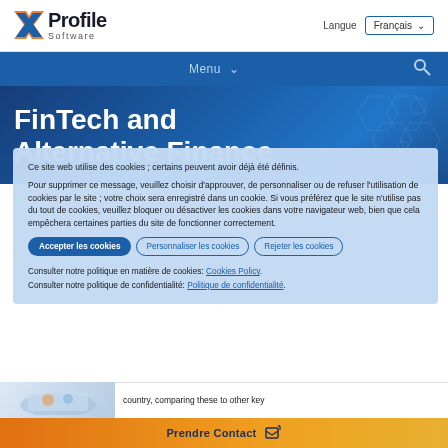Profile Software — Langue: Français
Menu
FinTech and Alternative Finance
Ce site web utilise des cookies ; certains peuvent avoir déjà été définis.
Pour supprimer ce message, veuillez choisir d'approuver, de personnaliser ou de refuser l'utilisation de cookies par le site ; votre choix sera enregistré dans un cookie. Si vous préférez que le site n'utilise pas du tout de cookies, veuillez bloquer ou désactiver les cookies dans votre navigateur web, bien que cela empêchera certaines parties du site de fonctionner correctement.
Accepter les cookies
Personnaliser les cookies
Rejeter les cookies
Consulter notre politique en matière de cookies: Cookies Policy.
Consulter notre politique de confidentialité: Politique de confidentialité.
country, comparing these to other key
Prendre Contact